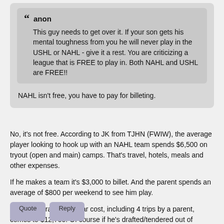anon
This guy needs to get over it. If your son gets his mental toughness from you he will never play in the USHL or NAHL - give it a rest. You are criticizing a league that is FREE to play in. Both NAHL and USHL are FREE!!
NAHL isn't free, you have to pay for billeting.
No, it's not free. According to JK from TJHN (FWIW), the average player looking to hook up with an NAHL team spends $6,500 on tryout (open and main) camps. That's travel, hotels, meals and other expenses.
If he makes a team it's $3,000 to billet. And the parent spends an average of $800 per weekend to see him play.
So, the average first year cost, including 4 trips by a parent, comes to $12,700. Of course if he's drafted/tendered out of school or AAA or at the NAHL Combine it will be less.
Not free at all.